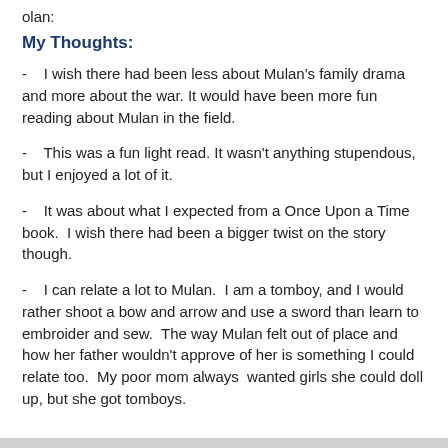olan:
My Thoughts:
- I wish there had been less about Mulan's family drama and more about the war. It would have been more fun reading about Mulan in the field.
- This was a fun light read. It wasn't anything stupendous, but I enjoyed a lot of it.
- It was about what I expected from a Once Upon a Time book. I wish there had been a bigger twist on the story though.
- I can relate a lot to Mulan. I am a tomboy, and I would rather shoot a bow and arrow and use a sword than learn to embroider and sew. The way Mulan felt out of place and how her father wouldn't approve of her is something I could relate too. My poor mom always wanted girls she could doll up, but she got tomboys.